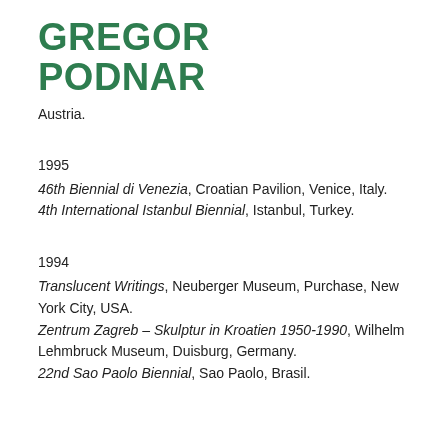GREGOR PODNAR
Austria.
1995
46th Biennial di Venezia, Croatian Pavilion, Venice, Italy.
4th International Istanbul Biennial, Istanbul, Turkey.
1994
Translucent Writings, Neuberger Museum, Purchase, New York City, USA.
Zentrum Zagreb – Skulptur in Kroatien 1950-1990, Wilhelm Lehmbruck Museum, Duisburg, Germany.
22nd Sao Paolo Biennial, Sao Paolo, Brasil.